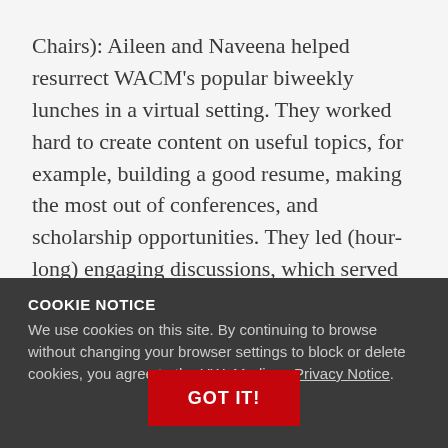Chairs): Aileen and Naveena helped resurrect WACM's popular biweekly lunches in a virtual setting. They worked hard to create content on useful topics, for example, building a good resume, making the most out of conferences, and scholarship opportunities. They led (hour-long) engaging discussions, which served as a good mid-day break from classes/research while also providing a social platform for students to meet.
COOKIE NOTICE
We use cookies on this site. By continuing to browse without changing your browser settings to block or delete cookies, you agree to the UW–Madison Privacy Notice.
manda goes above and beyond as the make resources availa his supported her employees. She is so ing.